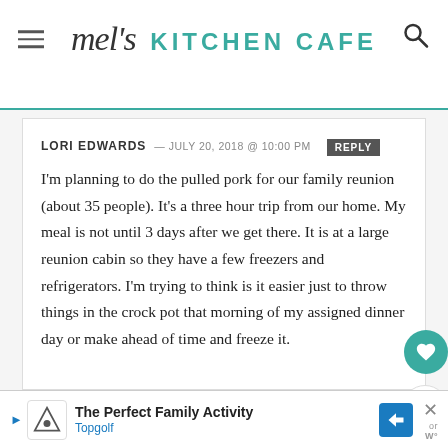mel's KITCHEN CAFE
LORI EDWARDS — JULY 20, 2018 @ 10:00 PM
REPLY
I'm planning to do the pulled pork for our family reunion (about 35 people). It's a three hour trip from our home. My meal is not until 3 days after we get there. It is at a large reunion cabin so they have a few freezers and refrigerators. I'm trying to think is it easier just to throw things in the crock pot that morning of my assigned dinner day or make ahead of time and freeze it.
The Perfect Family Activity
Topgolf